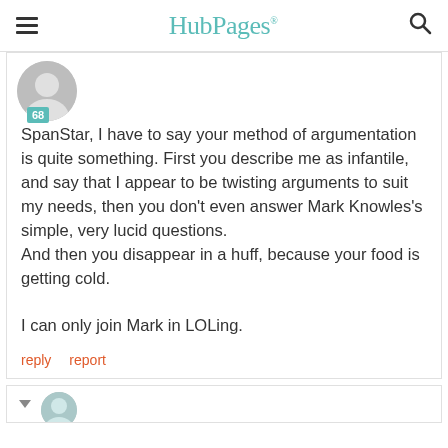HubPages
[Figure (photo): User avatar photo, partially visible, circular crop with teal badge showing '68']
SpanStar, I have to say your method of argumentation is quite something. First you describe me as infantile, and say that I appear to be twisting arguments to suit my needs, then you don't even answer Mark Knowles's simple, very lucid questions.
And then you disappear in a huff, because your food is getting cold.

I can only join Mark in LOLing.
reply   report